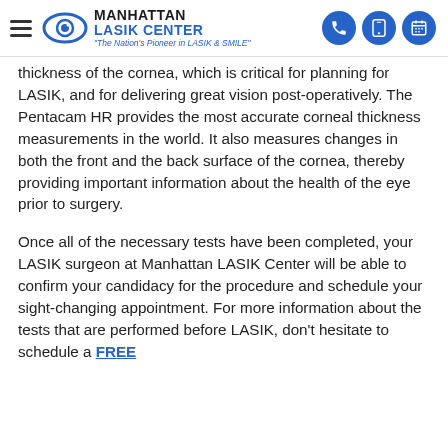Manhattan LASIK Center — "The Nation's Pioneer in LASIK & SMILE"
thickness of the cornea, which is critical for planning for LASIK, and for delivering great vision post-operatively. The Pentacam HR provides the most accurate corneal thickness measurements in the world. It also measures changes in both the front and the back surface of the cornea, thereby providing important information about the health of the eye prior to surgery.
Once all of the necessary tests have been completed, your LASIK surgeon at Manhattan LASIK Center will be able to confirm your candidacy for the procedure and schedule your sight-changing appointment. For more information about the tests that are performed before LASIK, don't hesitate to schedule a FREE consultation. You can call 212-759-9617 with